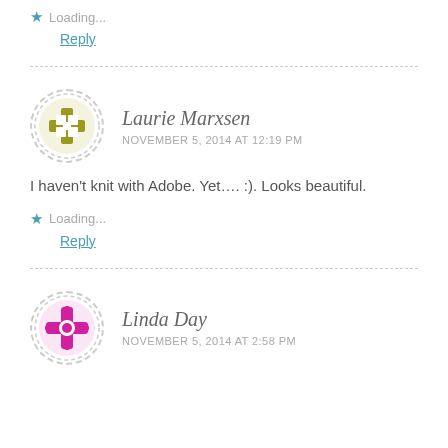Loading...
Reply
Laurie Marxsen
NOVEMBER 5, 2014 AT 12:19 PM
I haven't knit with Adobe. Yet…. :). Looks beautiful.
Loading...
Reply
Linda Day
NOVEMBER 5, 2014 AT 2:58 PM